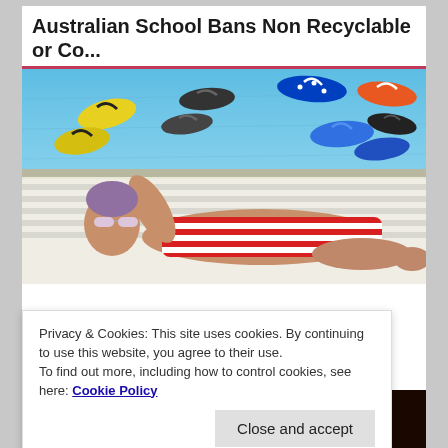Australian School Bans Non Recyclable or Co...
[Figure (photo): Colorful flip flops and sandals arranged near a swimming pool, with a woman in a red and white striped swimsuit and sunglasses lying on a towel by the pool.]
Privacy & Cookies: This site uses cookies. By continuing to use this website, you agree to their use.
To find out more, including how to control cookies, see here: Cookie Policy
[Figure (photo): Dark orange/brown background showing a coronavirus particle with glowing golden spikes, with partial text 'CORONAVIRUS' visible at the bottom.]